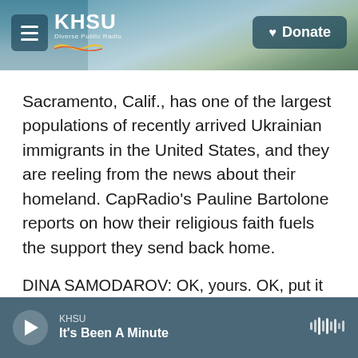[Figure (screenshot): KHSU radio station header with beach/coastal background image, hamburger menu button on left, KHSU logo with tagline, and Donate button on right]
Sacramento, Calif., has one of the largest populations of recently arrived Ukrainian immigrants in the United States, and they are reeling from the news about their homeland. CapRadio's Pauline Bartolone reports on how their religious faith fuels the support they send back home.
DINA SAMODAROV: OK, yours. OK, put it on.
PAULINE BARTOLONE, BYLINE: All this week, Dina Samodarov has been connecting people with
[Figure (screenshot): Audio player bar at bottom: play button, KHSU station label, podcast title 'It's Been A Minute', waveform icon on right]